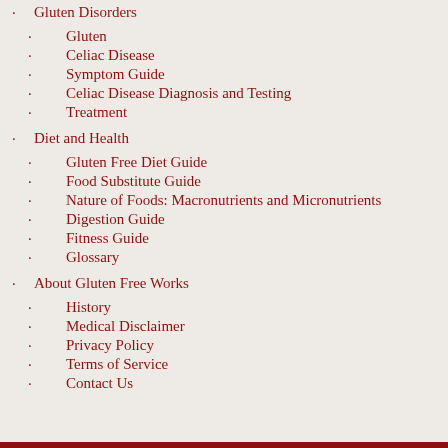Gluten Disorders
Gluten
Celiac Disease
Symptom Guide
Celiac Disease Diagnosis and Testing
Treatment
Diet and Health
Gluten Free Diet Guide
Food Substitute Guide
Nature of Foods: Macronutrients and Micronutrients
Digestion Guide
Fitness Guide
Glossary
About Gluten Free Works
History
Medical Disclaimer
Privacy Policy
Terms of Service
Contact Us